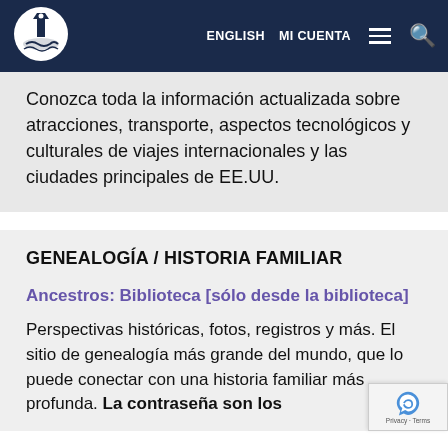ENGLISH  MI CUENTA
Conozca toda la información actualizada sobre atracciones, transporte, aspectos tecnológicos y culturales de viajes internacionales y las ciudades principales de EE.UU.
GENEALOGÍA / HISTORIA FAMILIAR
Ancestros: Biblioteca [sólo desde la biblioteca]
Perspectivas históricas, fotos, registros y más. El sitio de genealogía más grande del mundo, que lo puede conectar con una historia familiar más profunda. La contraseña son los